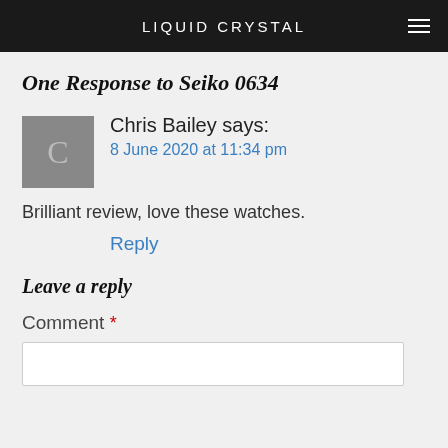LIQUID CRYSTAL
One Response to Seiko 0634
Chris Bailey says:
8 June 2020 at 11:34 pm
Brilliant review, love these watches.
Reply
Leave a reply
Comment *